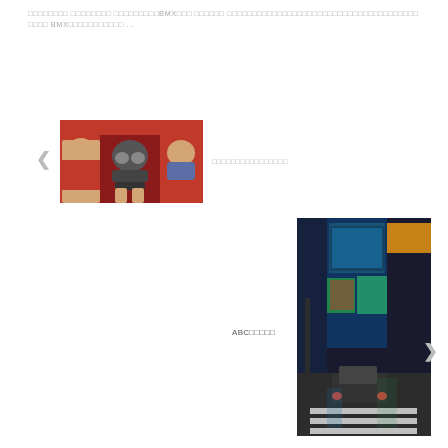□□□□□□□□ □□□□□□□□ □□□□□□□□□BMX□□□ □□□□□□ □□□□□□□□□□□□□□□□□□□□□□□□□□□□□□□□□□□□□□ □□□□ BMX□□□□□□□□□□□ ...
[Figure (photo): Three people wearing face masks, posing together]
□□□□□□□□□□□□□□□□
[Figure (photo): Blurry night street scene in a city with illuminated storefronts and a car at a crosswalk]
ABC□□□□□